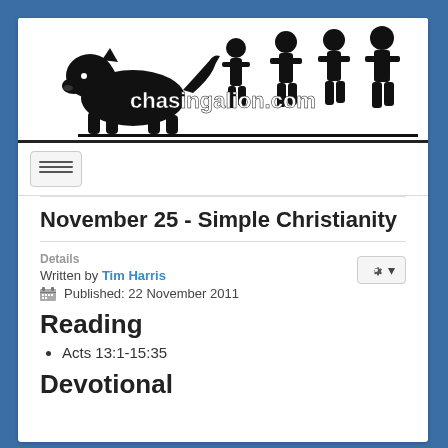[Figure (illustration): chasingalion.com website header banner showing silhouette of a lion chasing running children figures, with the text 'chasingalion.com' overlaid]
November 25 - Simple Christianity
Details
Written by Tim Harris
Published: 22 November 2011
Reading
Acts 13:1-15:35
Devotional